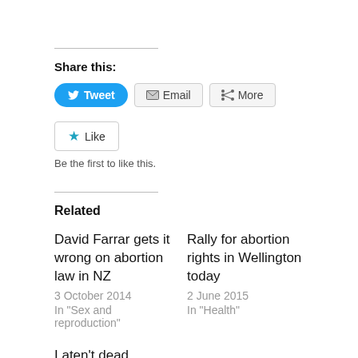Share this:
[Figure (screenshot): Social share buttons: Tweet (blue), Email, More]
[Figure (screenshot): Like button with star icon]
Be the first to like this.
Related
David Farrar gets it wrong on abortion law in NZ
3 October 2014
In "Sex and reproduction"
Rally for abortion rights in Wellington today
2 June 2015
In "Health"
I aten't dead
1 May 2017
In "Election 2017"